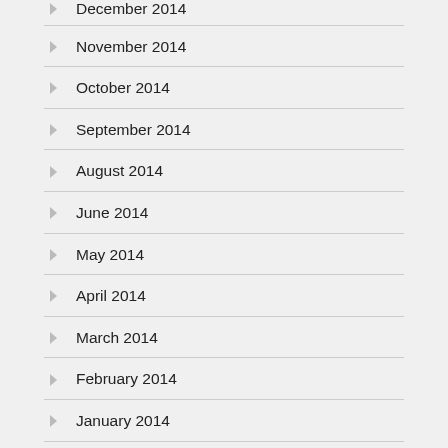December 2014
November 2014
October 2014
September 2014
August 2014
June 2014
May 2014
April 2014
March 2014
February 2014
January 2014
December 2013